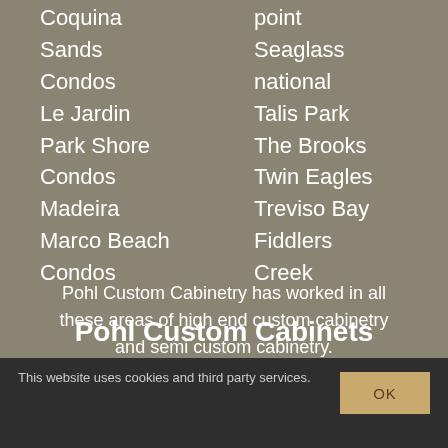Coquina
Sands
Condos
Le Jardin
Park Shore
Condos
Madeira
Marco Beach
Condos
point
Seaglass
national
Talis Park
The Brooks
Twin Eagles
Treviso Bay
Fiddlers
Creek
Pohl Custom Cabinetry has worked in all these areas of high end custom cabinetry and semi custom cabinetry.
Pohl Custom Cabinets
This website uses cookies and third party services.
OK